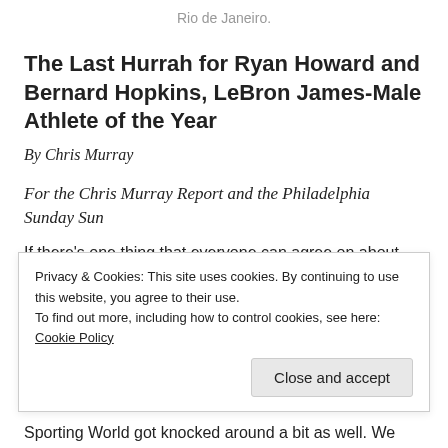Rio de Janeiro.
The Last Hurrah for Ryan Howard and Bernard Hopkins, LeBron James-Male Athlete of the Year
By Chris Murray
For the Chris Murray Report and the Philadelphia Sunday Sun
If there's one thing that everyone can agree on about
Privacy & Cookies: This site uses cookies. By continuing to use this website, you agree to their use.
To find out more, including how to control cookies, see here: Cookie Policy
Close and accept
Sporting World got knocked around a bit as well. We